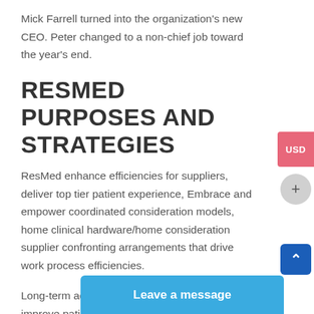Mick Farrell turned into the organization's new CEO. Peter changed to a non-chief job toward the year's end.
RESMED PURPOSES AND STRATEGIES
ResMed enhance efficiencies for suppliers, deliver top tier patient experience, Embrace and empower coordinated consideration models, home clinical hardware/home consideration supplier confronting arrangements that drive work process efficiencies.
Long-term adherence arrangements that improve patient administration and address the issues of alluding doctors. ResMed plans to welcome patient-confronting arrangements, from recognizable proof to treatment, that smooth out the experience and improve long-haul adherence.